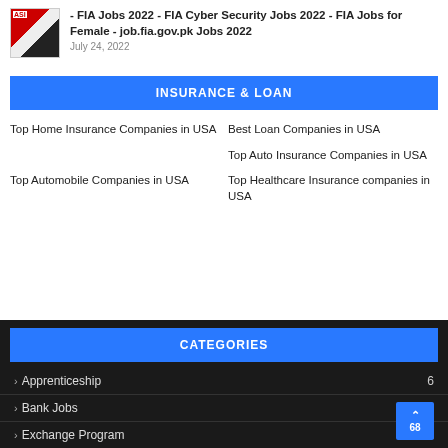[Figure (screenshot): Thumbnail image for FIA Jobs 2022 article showing ASI logo and text in Urdu]
- FIA Jobs 2022 - FIA Cyber Security Jobs 2022 - FIA Jobs for Female - job.fia.gov.pk Jobs 2022
July 24, 2022
INSURANCE & LOAN
Top Home Insurance Companies in USA
Best Loan Companies in USA
Top Auto Insurance Companies in USA
Top Automobile Companies in USA
Top Healthcare Insurance companies in USA
CATEGORIES
Apprenticeship  6
Bank Jobs  68
Exchange Program  1